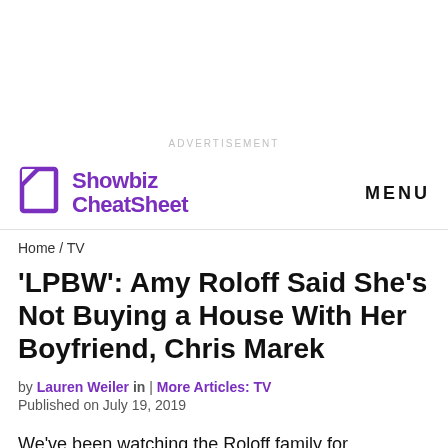ADVERTISEMENT
Showbiz CheatSheet | MENU
Home / TV
'LPBW': Amy Roloff Said She's Not Buying a House With Her Boyfriend, Chris Marek
by Lauren Weiler in | More Articles: TV
Published on July 19, 2019
We've been watching the Roloff family for